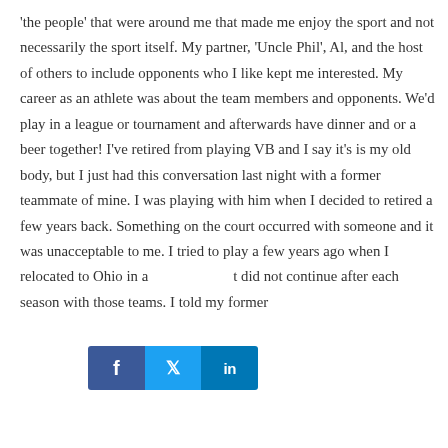'the people' that were around me that made me enjoy the sport and not necessarily the sport itself. My partner, 'Uncle Phil', Al, and the host of others to include opponents who I like kept me interested. My career as an athlete was about the team members and opponents. We'd play in a league or tournament and afterwards have dinner and or a beer together! I've retired from playing VB and I say it's is my old body, but I just had this conversation last night with a former teammate of mine. I was playing with him when I decided to retired a few years back. Something on the court occurred with someone and it was unacceptable to me. I tried to play a few years ago when I relocated to Ohio in a... it did not continue after each season with those teams. I told my former